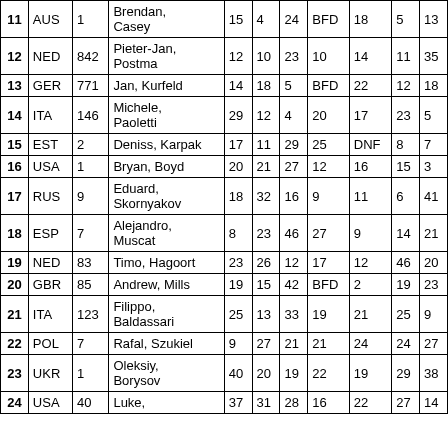| # | NAT | Sail | Name | R1 | R2 | R3 | R4 | R5 | R6 | R7 |
| --- | --- | --- | --- | --- | --- | --- | --- | --- | --- | --- |
| 11 | AUS | 1 | Brendan, Casey | 15 | 4 | 24 | BFD | 18 | 5 | 13 |
| 12 | NED | 842 | Pieter-Jan, Postma | 12 | 10 | 23 | 10 | 14 | 11 | 35 |
| 13 | GER | 771 | Jan, Kurfeld | 14 | 18 | 5 | BFD | 22 | 12 | 18 |
| 14 | ITA | 146 | Michele, Paoletti | 29 | 12 | 4 | 20 | 17 | 23 | 5 |
| 15 | EST | 2 | Deniss, Karpak | 17 | 11 | 29 | 25 | DNF | 8 | 7 |
| 16 | USA | 1 | Bryan, Boyd | 20 | 21 | 27 | 12 | 16 | 15 | 3 |
| 17 | RUS | 9 | Eduard, Skornyakov | 18 | 32 | 16 | 9 | 11 | 6 | 41 |
| 18 | ESP | 7 | Alejandro, Muscat | 8 | 23 | 46 | 27 | 9 | 14 | 21 |
| 19 | NED | 83 | Timo, Hagoort | 23 | 26 | 12 | 17 | 12 | 46 | 20 |
| 20 | GBR | 85 | Andrew, Mills | 19 | 15 | 42 | BFD | 2 | 19 | 23 |
| 21 | ITA | 123 | Filippo, Baldassari | 25 | 13 | 33 | 19 | 21 | 25 | 9 |
| 22 | POL | 7 | Rafal, Szukiel | 9 | 27 | 21 | 21 | 24 | 24 | 27 |
| 23 | UKR | 1 | Oleksiy, Borysov | 40 | 20 | 19 | 22 | 19 | 29 | 38 |
| 24 | USA | 40 | Luke, | 37 | 31 | 28 | 16 | 22 | 27 | 14 |